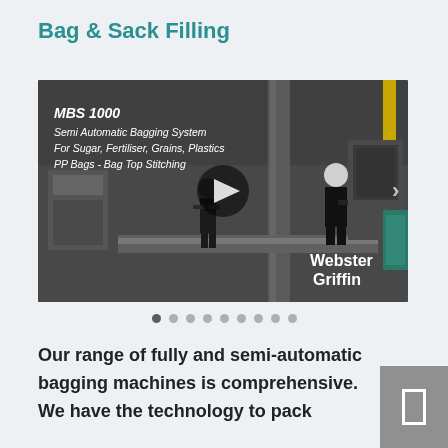Bag & Sack Filling
[Figure (screenshot): Video thumbnail showing MBS 1000 Semi Automatic Bagging System in an industrial facility with workers, play button overlay, and Webster Griffin branding. Text overlay reads: MBS 1000 / Semi Automatic Bagging System / For Sugar, Fertiliser, Grains, Plastics / PP Bags - Bag Top Stitching]
Our range of fully and semi-automatic bagging machines is comprehensive. We have the technology to pack